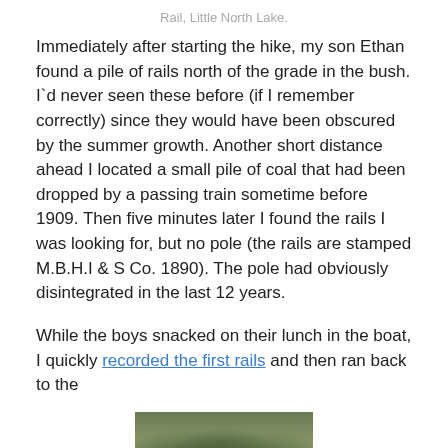Rail, Little North Lake.
Immediately after starting the hike, my son Ethan found a pile of rails north of the grade in the bush. I`d never seen these before (if I remember correctly) since they would have been obscured by the summer growth. Another short distance ahead I located a small pile of coal that had been dropped by a passing train sometime before 1909. Then five minutes later I found the rails I was looking for, but no pole (the rails are stamped M.B.H.I & S Co. 1890). The pole had obviously disintegrated in the last 12 years.
While the boys snacked on their lunch in the boat, I quickly recorded the first rails and then ran back to the
[Figure (photo): Photograph of rails on the ground among soil and small plants/vegetation]